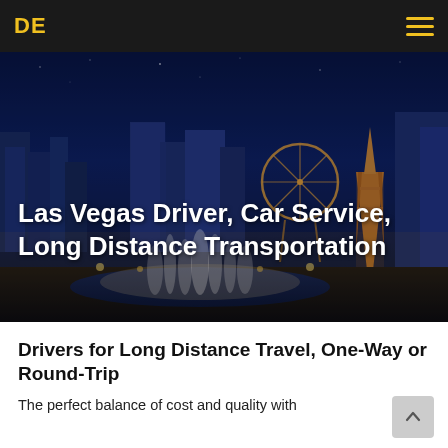DE  ☰
[Figure (photo): Night aerial photo of the Las Vegas Strip showing illuminated casinos, the Eiffel Tower replica at Paris Las Vegas, a Ferris wheel, and Bellagio fountains under a dark blue sky]
Las Vegas Driver, Car Service, Long Distance Transportation
Drivers for Long Distance Travel, One-Way or Round-Trip
The perfect balance of cost and quality with